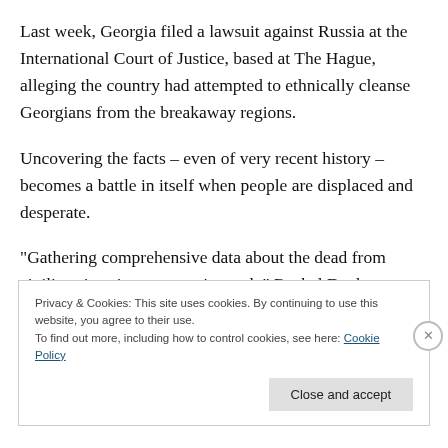Last week, Georgia filed a lawsuit against Russia at the International Court of Justice, based at The Hague, alleging the country had attempted to ethnically cleanse Georgians from the breakaway regions.
Uncovering the facts – even of very recent history – becomes a battle in itself when people are displaced and desperate.
“Gathering comprehensive data about the dead from civilians is a time-consuming task,” Rachel Denber,
Privacy & Cookies: This site uses cookies. By continuing to use this website, you agree to their use.
To find out more, including how to control cookies, see here: Cookie Policy